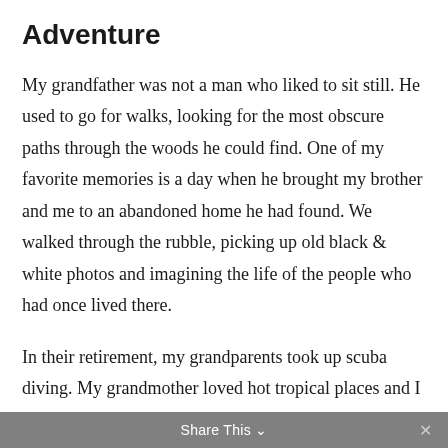Adventure
My grandfather was not a man who liked to sit still. He used to go for walks, looking for the most obscure paths through the woods he could find. One of my favorite memories is a day when he brought my brother and me to an abandoned home he had found. We walked through the rubble, picking up old black & white photos and imagining the life of the people who had once lived there.
In their retirement, my grandparents took up scuba diving. My grandmother loved hot tropical places and I think it may have been my grandfather’s way of enjoying those places too. I think they finally stopped when my grandmother lost hearing in one of her ears during a dive.
Share This ˅  ×